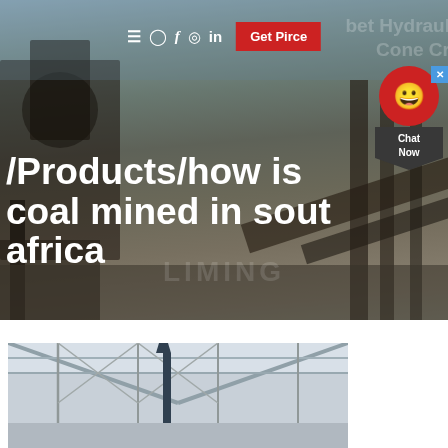[Figure (photo): Industrial mining/crushing facility with large machinery, conveyor belts, and equipment against a sky background. Watermark text partially visible.]
bet Hydraulic Cone Cr
☰ ⌂ in Get Pirce
/Products/how is coal mined in south africa
[Figure (photo): Interior of an industrial building or facility with steel framework and roof structure visible.]